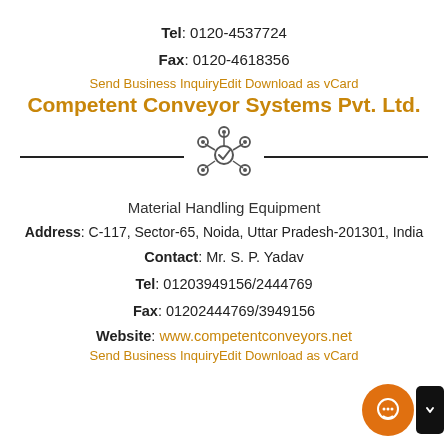Tel: 0120-4537724
Fax: 0120-4618356
Send Business InquiryEdit Download as vCard
Competent Conveyor Systems Pvt. Ltd.
[Figure (logo): Gear/conveyor icon with checkmark in center]
Material Handling Equipment
Address: C-117, Sector-65, Noida, Uttar Pradesh-201301, India
Contact: Mr. S. P. Yadav
Tel: 01203949156/2444769
Fax: 01202444769/3949156
Website: www.competentconveyors.net
Send Business InquiryEdit Download as vCard